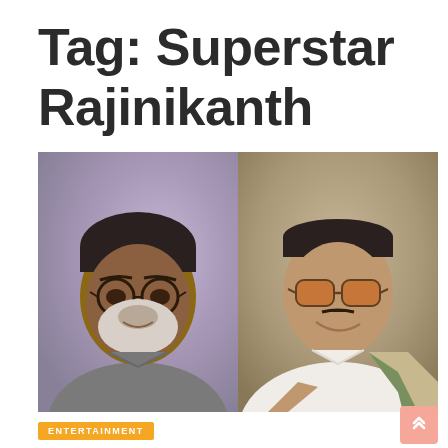Tag: Superstar Rajinikanth
[Figure (photo): Two-panel photo: left panel shows Rajinikanth (older man with white beard and glasses, grey shirt) against a purple-blue background; right panel shows another man (wearing sunglasses, white traditional attire with striped shawl) against a brown background.]
ENTERTAINMENT